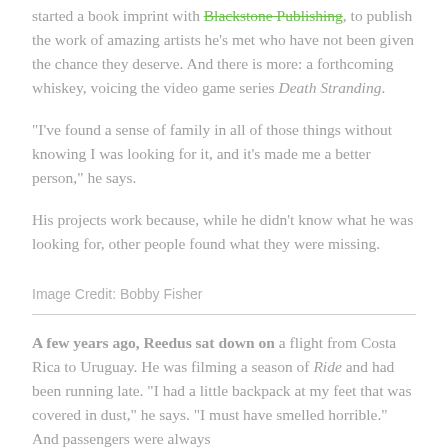started a book imprint with Blackstone Publishing, to publish the work of amazing artists he's met who have not been given the chance they deserve. And there is more: a forthcoming whiskey, voicing the video game series Death Stranding.
"I've found a sense of family in all of those things without knowing I was looking for it, and it's made me a better person," he says.
His projects work because, while he didn't know what he was looking for, other people found what they were missing.
Image Credit: Bobby Fisher
A few years ago, Reedus sat down on a flight from Costa Rica to Uruguay. He was filming a season of Ride and had been running late. "I had a little backpack at my feet that was covered in dust," he says. "I must have smelled horrible." And passengers were always